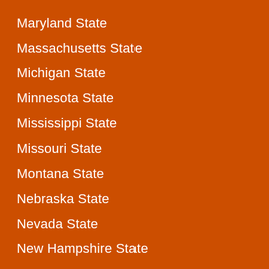Maryland State
Massachusetts State
Michigan State
Minnesota State
Mississippi State
Missouri State
Montana State
Nebraska State
Nevada State
New Hampshire State